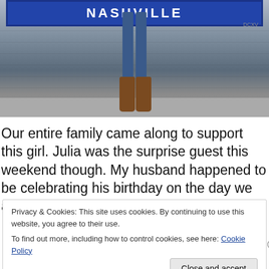[Figure (photo): A person standing in front of a blue Nashville sign on a white brick wall, wearing blue jeans and brown knee-high boots. Shows lower body only.]
Our entire family came along to support this girl. Julia was the surprise guest this weekend though. My husband happened to be celebrating his birthday on the day we are
Privacy & Cookies: This site uses cookies. By continuing to use this website, you agree to their use.
To find out more, including how to control cookies, see here: Cookie Policy